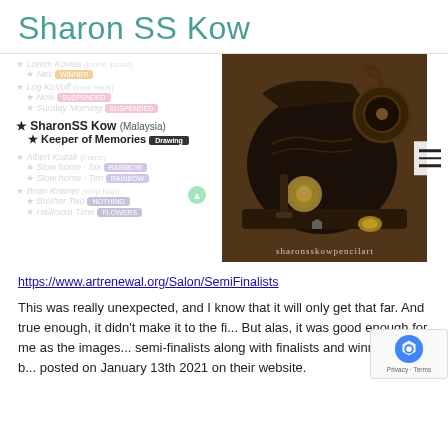Sharon SS Kow
[Figure (screenshot): Screenshot of an art salon semi-finalists list showing blurred artist entries above and below a highlighted entry for SharonSS Kow (Malaysia) with artwork 'Keeper of Memories' tagged as Drawing, alongside a photograph of an antique sewing machine with the watermark sharonsskowpencilart]
https://www.artrenewal.org/Salon/SemiFinalists
This was really unexpected, and I know that it will only get that far. And true enough, it didn't make it to the fi... But alas, it was good enough for me as the images... semi-finalists along with finalists and winners will b... posted on January 13th 2021 on their website.